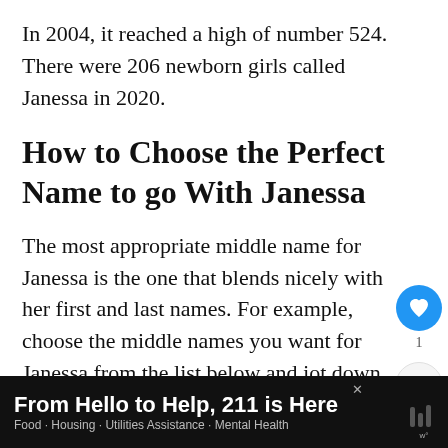In 2004, it reached a high of number 524. There were 206 newborn girls called Janessa in 2020.
How to Choose the Perfect Name to go With Janessa
The most appropriate middle name for Janessa is the one that blends nicely with her first and last names. For example, choose the middle names you want for Janessa from the list below and jot down on a piece of paper.
[Figure (screenshot): UI sidebar with heart/like button (blue circle, count 1) and share button]
[Figure (screenshot): What's Next widget showing image and text 'Newborn Leg Shaking: Wh...']
[Figure (screenshot): Advertisement banner: 'From Hello to Help, 211 is Here' with subtext 'Food · Housing · Utilities Assistance · Mental Health']